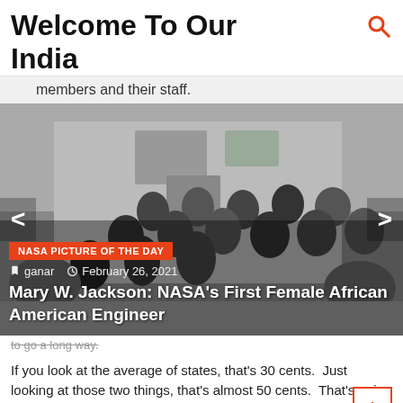Welcome To Our India
members and their staff.
[Figure (photo): Black and white group photo of NASA employees posing outside a building, overlaid with article metadata. Badge reads 'NASA PICTURE OF THE DAY', author 'ganar', date 'February 26, 2021', headline 'Mary W. Jackson: NASA's First Female African American Engineer']
to go a long way.
If you look at the average of states, that's 30 cents.  Just looking at those two things, that's almost 50 cents.  That's going to go a